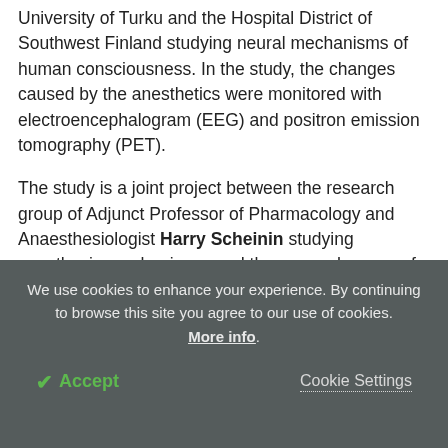University of Turku and the Hospital District of Southwest Finland studying neural mechanisms of human consciousness. In the study, the changes caused by the anesthetics were monitored with electroencephalogram (EEG) and positron emission tomography (PET).
The study is a joint project between the research group of Adjunct Professor of Pharmacology and Anaesthesiologist Harry Scheinin studying anesthesia mechanisms, and the research group of Professor of Psychology Antti Revonsuo studying human
We use cookies to enhance your experience. By continuing to browse this site you agree to our use of cookies. More info.
✔ Accept   Cookie Settings